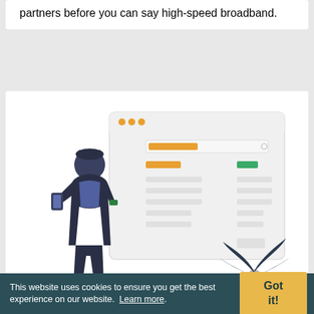partners before you can say high-speed broadband.
[Figure (illustration): Illustration of a person in dark clothing leaning and looking at a phone, standing in front of a large browser window mockup with orange and green UI elements, and a decorative plant at the bottom right.]
Advanced SEO
$348
This website uses cookies to ensure you get the best experience on our website. Learn more.
Got it!